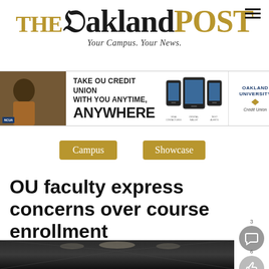THE Oakland POST — Your Campus. Your News.
[Figure (infographic): Advertisement banner: Take OU Credit Union with you anytime, anywhere. Shows photo of student, mobile devices, and Oakland University Credit Union logo.]
Campus
Showcase
OU faculty express concerns over course enrollment
[Figure (photo): Interior hallway/corridor of a building, dark with ceiling lights visible.]